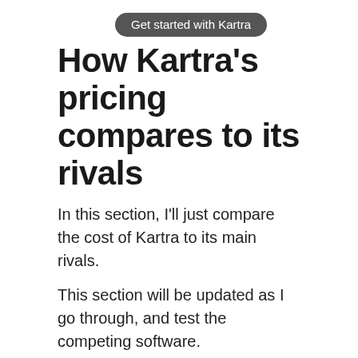[Figure (other): Button/badge with text 'Get started with Kartra' on dark gray rounded background]
How Kartra’s pricing compares to its rivals
In this section, I’ll just compare the cost of Kartra to its main rivals.
This section will be updated as I go through, and test the competing software.
ClickFunnels
Full article: Kartra vs ClickFunnels (coming soon.)
Note: I’m extremely familiar with ClickFunnels because I knew it before Kartra